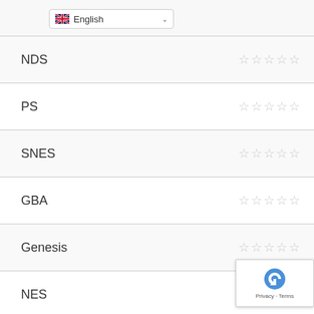| Platform | Rating |
| --- | --- |
| NDS | ☆☆☆☆☆ |
| PS | ☆☆☆☆☆ |
| SNES | ☆☆☆☆☆ |
| GBA | ☆☆☆☆☆ |
| Genesis | ☆☆☆☆☆ |
| NES | ☆☆☆☆☆ |